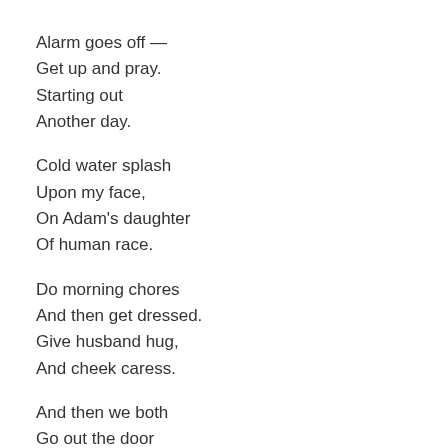Alarm goes off —
Get up and pray.
Starting out
Another day.

Cold water splash
Upon my face,
On Adam's daughter
Of human race.

Do morning chores
And then get dressed.
Give husband hug,
And cheek caress.

And then we both
Go out the door